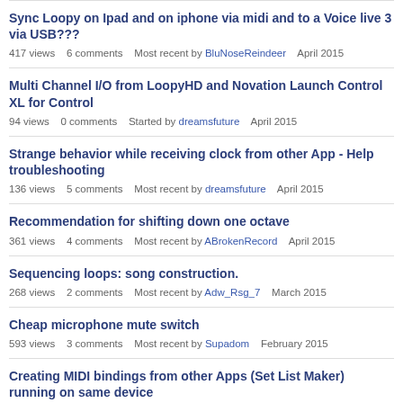Sync Loopy on Ipad and on iphone via midi and to a Voice live 3 via USB???
417 views   6 comments   Most recent by BluNoseReindeer   April 2015
Multi Channel I/O from LoopyHD and Novation Launch Control XL for Control
94 views   0 comments   Started by dreamsfuture   April 2015
Strange behavior while receiving clock from other App - Help troubleshooting
136 views   5 comments   Most recent by dreamsfuture   April 2015
Recommendation for shifting down one octave
361 views   4 comments   Most recent by ABrokenRecord   April 2015
Sequencing loops: song construction.
268 views   2 comments   Most recent by Adw_Rsg_7   March 2015
Cheap microphone mute switch
593 views   3 comments   Most recent by Supadom   February 2015
Creating MIDI bindings from other Apps (Set List Maker) running on same device